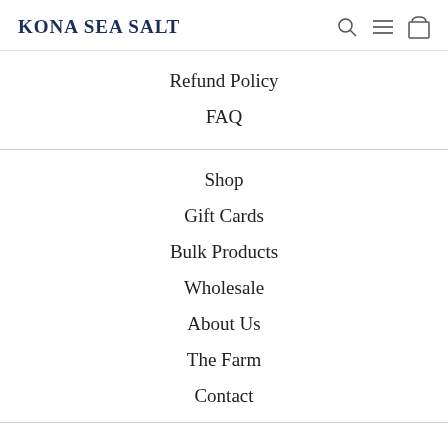Kona Sea Salt
Refund Policy
FAQ
Shop
Gift Cards
Bulk Products
Wholesale
About Us
The Farm
Contact